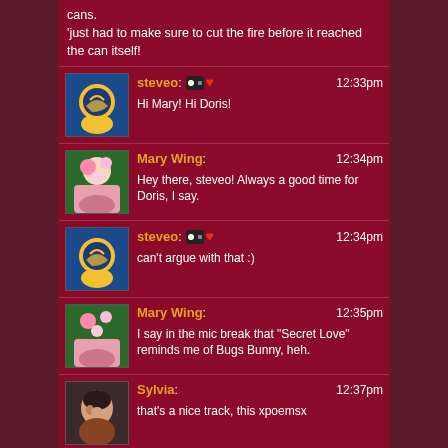cans.
'just had to make sure to cut the fire before it reached the can itself!
steveo: 12:33pm
Hi Mary! Hi Doris!
Mary Wing: 12:34pm
Hey there, steveo! Always a good time for Doris, I say.
steveo: 12:34pm
can't argue with that :)
Mary Wing: 12:35pm
I say in the mic break that "Secret Love" reminds me of Bugs Bunny, heh.
Sylvia: 12:37pm
that's a nice track, this xpoemsx
Phillippe: 12:37pm
Highly recommend the "type-post-read" method for the comment board, coel. Keeps one humble
steveo: 12:40pm